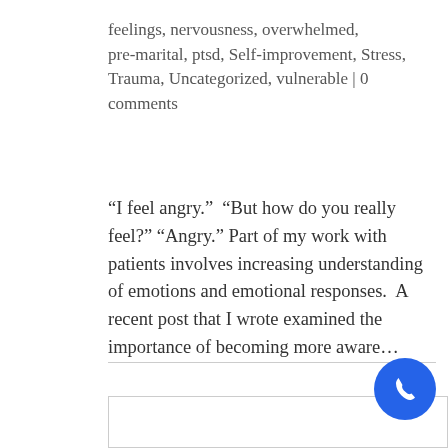feelings, nervousness, overwhelmed, pre-marital, ptsd, Self-improvement, Stress, Trauma, Uncategorized, vulnerable | 0 comments
“I feel angry.”  “But how do you really feel?”  “Angry.” Part of my work with patients involves increasing understanding of emotions and emotional responses.  A recent post that I wrote examined the importance of becoming more aware…